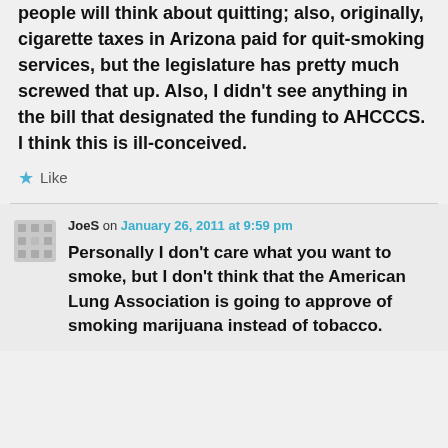people will think about quitting; also, originally, cigarette taxes in Arizona paid for quit-smoking services, but the legislature has pretty much screwed that up. Also, I didn't see anything in the bill that designated the funding to AHCCCS. I think this is ill-conceived.
Like
JoeS on January 26, 2011 at 9:59 pm
Personally I don't care what you want to smoke,  but I don't think that the American Lung Association is going to approve of smoking marijuana instead of tobacco.